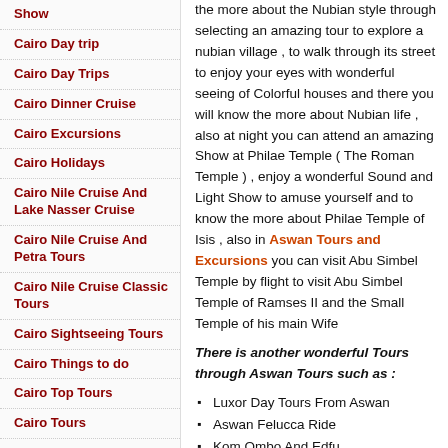Show
Cairo Day trip
Cairo Day Trips
Cairo Dinner Cruise
Cairo Excursions
Cairo Holidays
Cairo Nile Cruise And Lake Nasser Cruise
Cairo Nile Cruise And Petra Tours
Cairo Nile Cruise Classic Tours
Cairo Sightseeing Tours
Cairo Things to do
Cairo Top Tours
Cairo Tours
Cairo Tours
Cairo Tours From Alexandria
the more about the Nubian style through selecting an amazing tour to explore a nubian village , to walk through its street to enjoy your eyes with wonderful seeing of Colorful houses and there you will know the more about Nubian life , also at night you can attend an amazing Show at Philae Temple ( The Roman Temple ) , enjoy a wonderful Sound and Light Show to amuse yourself and to know the more about Philae Temple of Isis , also in Aswan Tours and Excursions you can visit Abu Simbel Temple by flight to visit Abu Simbel Temple of Ramses II and the Small Temple of his main Wife
There is another wonderful Tours through Aswan Tours such as :
Luxor Day Tours From Aswan
Aswan Felucca Ride
Kom Ombo And Edfu